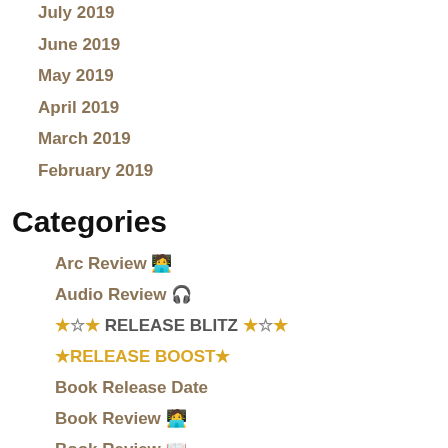July 2019
June 2019
May 2019
April 2019
March 2019
February 2019
Categories
Arc Review 🧑‍💻
Audio Review 🎧
★☆★ RELEASE BLITZ ★☆★
★RELEASE BOOST★
Book Release Date
Book Review 🧑‍💻
Book Review 📖
Book Tour
Books i've read this month 📖